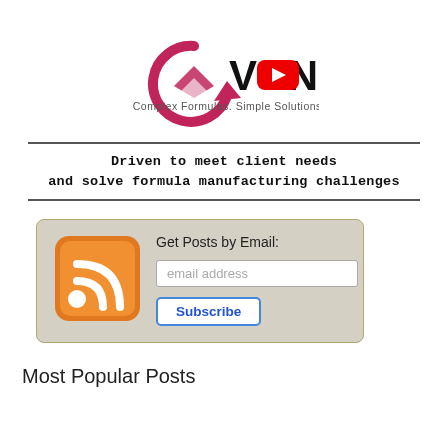[Figure (logo): Vonity logo with pink/maroon circular arrow icon and YouTube play button overlay, text 'VONITY' in bold black, tagline 'Complex Formulas. Simple Solutions.']
Driven to meet client needs and solve formula manufacturing challenges
[Figure (infographic): Email subscription widget with orange RSS icon, 'Get Posts by Email:' label, email address input field, and Subscribe button]
Most Popular Posts